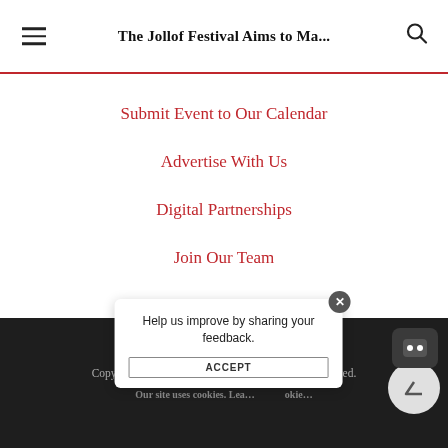The Jollof Festival Aims to Ma...
Submit Event to Our Calendar
Advertise With Us
Digital Partnerships
Join Our Team
Copyright ©2022, Edible Brooklyn. All Rights Reserved. Our site uses cookies. Lea... okie... ACCEPT